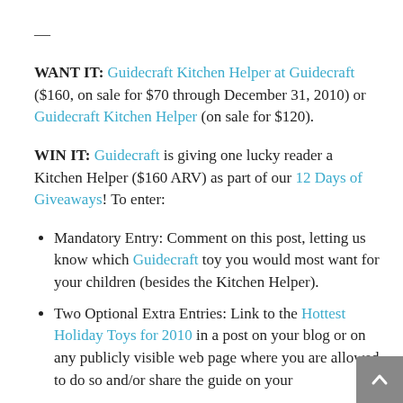—
WANT IT: Guidecraft Kitchen Helper at Guidecraft ($160, on sale for $70 through December 31, 2010) or Guidecraft Kitchen Helper (on sale for $120).
WIN IT: Guidecraft is giving one lucky reader a Kitchen Helper ($160 ARV) as part of our 12 Days of Giveaways! To enter:
Mandatory Entry: Comment on this post, letting us know which Guidecraft toy you would most want for your children (besides the Kitchen Helper).
Two Optional Extra Entries: Link to the Hottest Holiday Toys for 2010 in a post on your blog or on any publicly visible web page where you are allowed to do so and/or share the guide on your